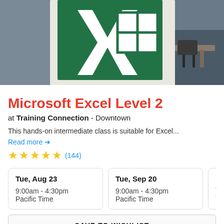[Figure (photo): Hero image showing a Microsoft Excel logo banner (green background with white X and grid icon) hung in a classroom/office setting with desks and chairs visible in the background.]
Microsoft Excel Level 2
at Training Connection - Downtown
This hands-on intermediate class is suitable for Excel...
Read more →
★★★★★ (144)
Tue, Aug 23
9:00am - 4:30pm
Pacific Time
Tue, Sep 20
9:00am - 4:30pm
Pacific Time
Don't see dates that work for you?
SAVE TO WISHLIST